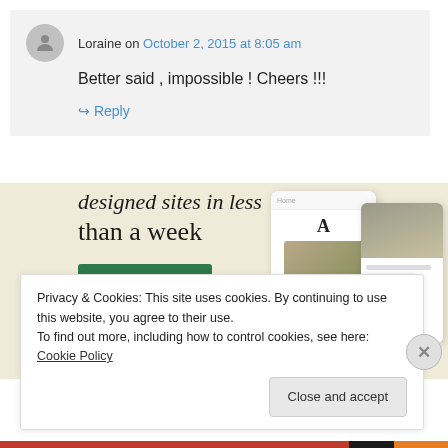Loraine on October 2, 2015 at 8:05 am
Better said , impossible ! Cheers !!!
↳ Reply
[Figure (screenshot): Advertisement banner showing 'designed sites in less than a week' with an Explore options button and website mockup images on a beige background]
Privacy & Cookies: This site uses cookies. By continuing to use this website, you agree to their use.
To find out more, including how to control cookies, see here: Cookie Policy
Close and accept